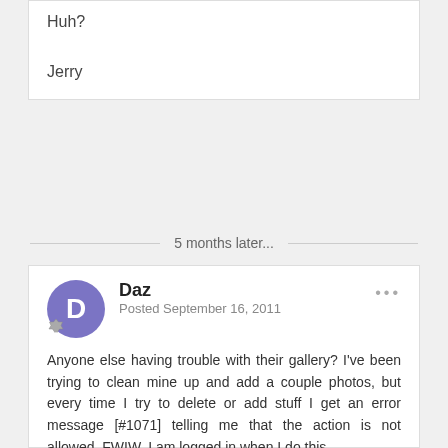Huh?
Jerry
5 months later...
Daz
Posted September 16, 2011
Anyone else having trouble with their gallery? I've been trying to clean mine up and add a couple photos, but every time I try to delete or add stuff I get an error message [#1071] telling me that the action is not allowed. FWIW, I am logged in when I do this...
Cheers,